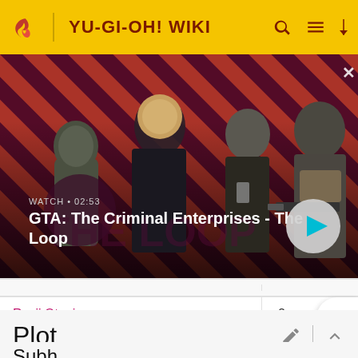YU-GI-OH! WIKI
[Figure (screenshot): Video thumbnail for 'GTA: The Criminal Enterprises - The Loop' showing four characters against a red diagonal stripe background. Duration shown as 02:53 with a play button.]
| Ryuji Otogi | 2 |
Plot
Subh